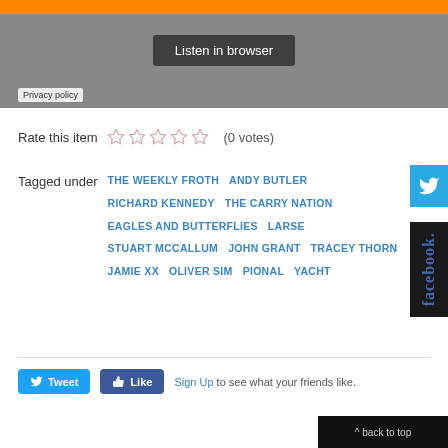[Figure (screenshot): SoundCloud embedded player with dark grey background, orange bar at top, 'Listen in browser' button in centre]
Privacy policy
Rate this item  ☆☆☆☆☆  (0 votes)
Tagged under  THE WEEKLY FROTH  ANDY BUTLER  RICHARD KENNEDY  THE CARRY NATION  EAGLES AND BUTTERFLIES  LARSE  STUART MCCALLUM  JOHN GRANT  TRACEY THORN  JAMIE XX  OLIVER SIM  PIONAL  YACHT
Tweet  Like  Sign Up to see what your friends like.
^ back to top